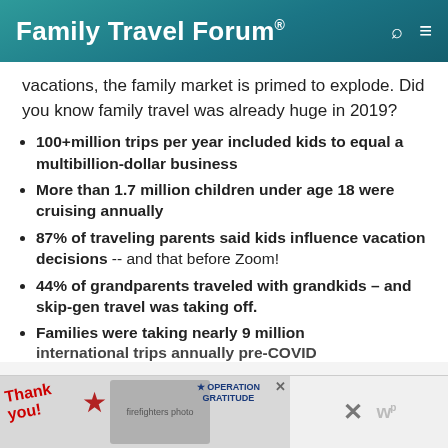Family Travel Forum®
vacations, the family market is primed to explode. Did you know family travel was already huge in 2019?
100+million trips per year included kids to equal a multibillion-dollar business
More than 1.7 million children under age 18 were cruising annually
87% of traveling parents said kids influence vacation decisions -- and that before Zoom!
44% of grandparents traveled with grandkids – and skip-gen travel was taking off.
Families were taking nearly 9 million international trips annually pre-COVID
[Figure (photo): Advertisement banner: Thank you image with firefighters and Operation Gratitude logo]